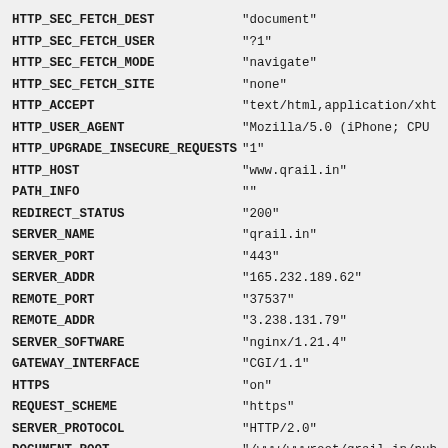| Key | Value |
| --- | --- |
| HTTP_SEC_FETCH_DEST | "document" |
| HTTP_SEC_FETCH_USER | "?1" |
| HTTP_SEC_FETCH_MODE | "navigate" |
| HTTP_SEC_FETCH_SITE | "none" |
| HTTP_ACCEPT | "text/html,application/xhtml |
| HTTP_USER_AGENT | "Mozilla/5.0 (iPhone; CPU iP |
| HTTP_UPGRADE_INSECURE_REQUESTS | "1" |
| HTTP_HOST | "www.qrail.in" |
| PATH_INFO | "" |
| REDIRECT_STATUS | "200" |
| SERVER_NAME | "qrail.in" |
| SERVER_PORT | "443" |
| SERVER_ADDR | "165.232.189.62" |
| REMOTE_PORT | "37537" |
| REMOTE_ADDR | "3.238.131.79" |
| SERVER_SOFTWARE | "nginx/1.21.4" |
| GATEWAY_INTERFACE | "CGI/1.1" |
| HTTPS | "on" |
| REQUEST_SCHEME | "https" |
| SERVER_PROTOCOL | "HTTP/2.0" |
| DOCUMENT_ROOT | "/www/wwwroot/qrail.in/publ |
| DOCUMENT_URI | "/index.php" |
| REQUEST_URI | "/train/running-status/11048 |
| SCRIPT_NAME | "/index.php" |